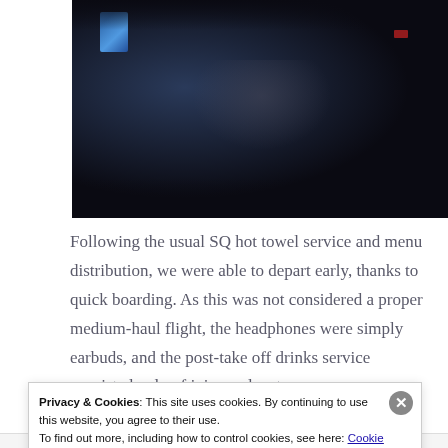[Figure (photo): Dark interior photo of an airplane cabin with a small screen glowing blue-white on the left and dim overhead lighting. A person's silhouette is faintly visible.]
Following the usual SQ hot towel service and menu distribution, we were able to depart early, thanks to quick boarding. As this was not considered a proper medium-haul flight, the headphones were simply earbuds, and the post-take off drinks service consisted only of juice and water.
Privacy & Cookies: This site uses cookies. By continuing to use this website, you agree to their use.
To find out more, including how to control cookies, see here: Cookie Policy
Close and accept